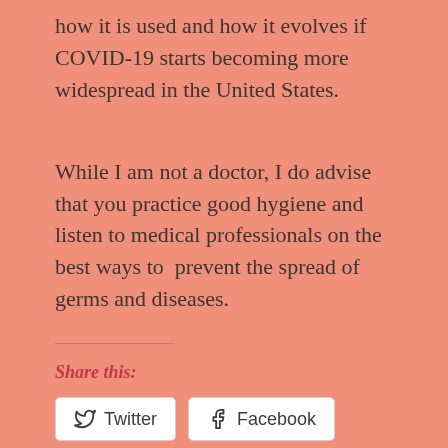how it is used and how it evolves if COVID-19 starts becoming more widespread in the United States.
While I am not a doctor, I do advise that you practice good hygiene and listen to medical professionals on the best ways to  prevent the spread of germs and diseases.
Share this:
Twitter
Facebook
Like
Be the first to like this.